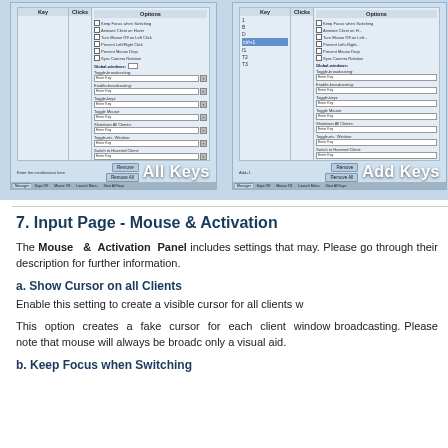[Figure (screenshot): Two UI panels side by side showing keyboard/mouse configuration windows. Left panel labeled 'All Keys', right panel labeled 'Add Keys'. Both show columns for Key, Clicks, Options with various settings including broadcasting controls and keyboard shortcuts.]
7. Input Page - Mouse & Activation
The Mouse & Activation Panel includes settings that may. Please go through their description for further information.
a. Show Cursor on all Clients
Enable this setting to create a visible cursor for all clients w
This option creates a fake cursor for each client window broadcasting. Please note that mouse will always be broadc only a visual aid.
b. Keep Focus when Switching